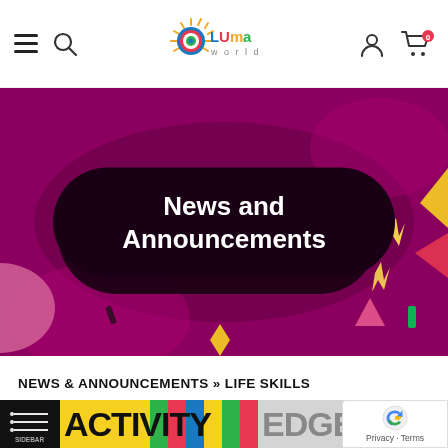Luma World navigation bar with hamburger menu, search, logo, account and cart icons
[Figure (illustration): Hero banner with dark magenta/purple background, colorful geometric shapes (lightning bolts, triangles, diamonds, rectangles) scattered around, and a dark pill-shaped overlay containing the text 'News and Announcements' in white bold font.]
NEWS & ANNOUNCEMENTS » LIFE SKILLS
[Figure (screenshot): Partial view of Activity Edge colorful banner with sidebar icon on dark background, showing bold text 'ACTIVITY EDGE' in large colorful letters on a yellow, green, red, blue striped background, with a gray lower section showing yellow radial lines.]